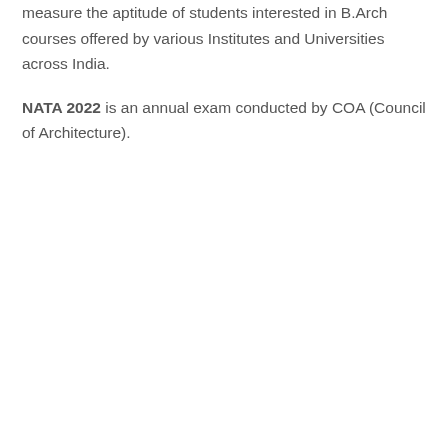measure the aptitude of students interested in B.Arch courses offered by various Institutes and Universities across India.
NATA 2022 is an annual exam conducted by COA (Council of Architecture).